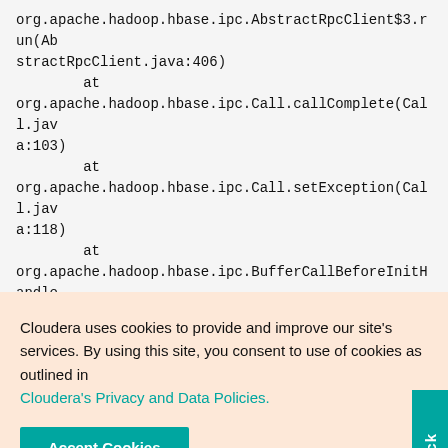org.apache.hadoop.hbase.ipc.AbstractRpcClient$3.run(AbstractRpcClient.java:406)
        at org.apache.hadoop.hbase.ipc.Call.callComplete(Call.java:103)
        at org.apache.hadoop.hbase.ipc.Call.setException(Call.java:118)
        at org.apache.hadoop.hbase.ipc.BufferCallBeforeInitHandler.userEventTriggered(BufferCallBeforeInitHandler.java:92)
Cloudera uses cookies to provide and improve our site's services. By using this site, you consent to use of cookies as outlined in Cloudera's Privacy and Data Policies.
Accept Cookies